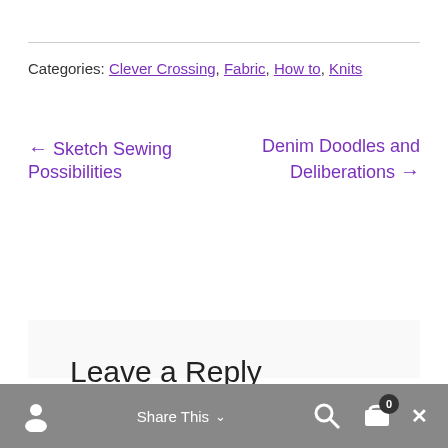Categories: Clever Crossing, Fabric, How to, Knits
← Sketch Sewing Possibilities
Denim Doodles and Deliberations →
Leave a Reply
Share This ∨  ✕